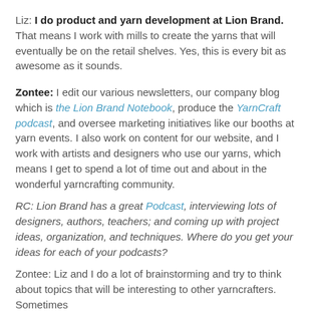Liz: I do product and yarn development at Lion Brand. That means I work with mills to create the yarns that will eventually be on the retail shelves. Yes, this is every bit as awesome as it sounds.
Zontee: I edit our various newsletters, our company blog which is the Lion Brand Notebook, produce the YarnCraft podcast, and oversee marketing initiatives like our booths at yarn events. I also work on content for our website, and I work with artists and designers who use our yarns, which means I get to spend a lot of time out and about in the wonderful yarncrafting community.
RC: Lion Brand has a great Podcast, interviewing lots of designers, authors, teachers; and coming up with project ideas, organization, and techniques. Where do you get your ideas for each of your podcasts?
Zontee: Liz and I do a lot of brainstorming and try to think about topics that will be interesting to other yarncrafters. Sometimes